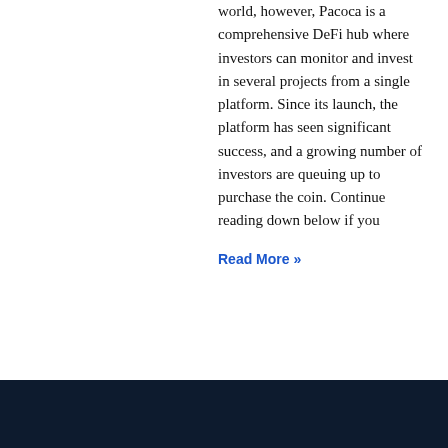world, however, Pacoca is a comprehensive DeFi hub where investors can monitor and invest in several projects from a single platform. Since its launch, the platform has seen significant success, and a growing number of investors are queuing up to purchase the coin. Continue reading down below if you
Read More »